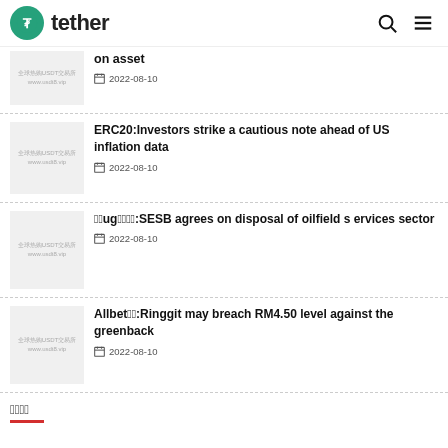tether
on asset
2022-08-10
ERC20:Investors strike a cautious note ahead of US inflation data
2022-08-10
ug:SESB agrees on disposal of oilfield services sector
2022-08-10
Allbet:Ringgit may breach RM4.50 level against the greenback
2022-08-10
相关推荐